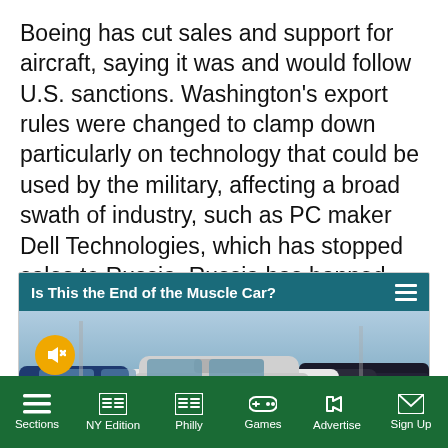Boeing has cut sales and support for aircraft, saying it was and would follow U.S. sanctions. Washington's export rules were changed to clamp down particularly on technology that could be used by the military, affecting a broad swath of industry, such as PC maker Dell Technologies, which has stopped sales to Russia. Russia has banned Western airlines from Russian space.
[Figure (screenshot): An article card with teal header reading 'Is This the End of the Muscle Car?' with a hamburger menu icon, and below it an image of muscle cars at a dealership lot. A muted audio button (gold circle with speaker icon) is visible on the image.]
Sections | NY Edition | Philly | Games | Advertise | Sign Up